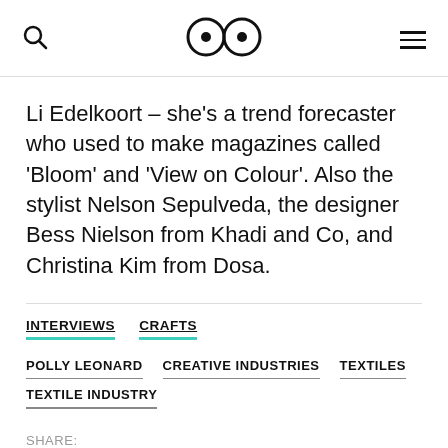Search | Logo (eyes icon) | Menu
Li Edelkoort – she's a trend forecaster who used to make magazines called 'Bloom' and 'View on Colour'. Also the stylist Nelson Sepulveda, the designer Bess Nielson from Khadi and Co, and Christina Kim from Dosa.
INTERVIEWS
CRAFTS
POLLY LEONARD
CREATIVE INDUSTRIES
TEXTILES
TEXTILE INDUSTRY
SHARE: